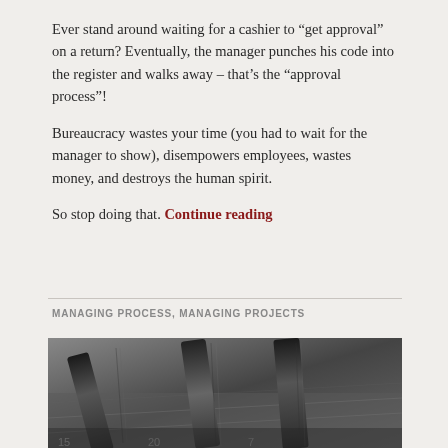Ever stand around waiting for a cashier to “get approval” on a return? Eventually, the manager punches his code into the register and walks away – that’s the “approval process”!
Bureaucracy wastes your time (you had to wait for the manager to show), disempowers employees, wastes money, and destroys the human spirit.
So stop doing that. Continue reading
MANAGING PROCESS, MANAGING PROJECTS
[Figure (photo): Close-up black and white photo of dart tips/barrels arranged diagonally, appearing to be steel-tip darts resting on a dartboard surface]